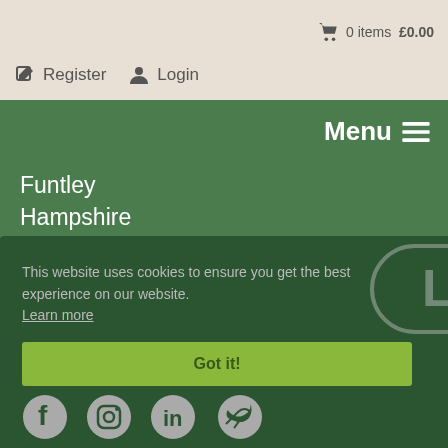0 items £0.00
Register   Login
Menu ☰
Funtley
Hampshire
United Kingdom
This website uses cookies to ensure you get the best experience on our website.
Learn more
Got it!
[Figure (logo): Watermark overlay showing 'LC 76965' inside a rounded pill/capsule shape]
[Figure (infographic): Social media icons row: Facebook, Instagram, LinkedIn, Twitter]